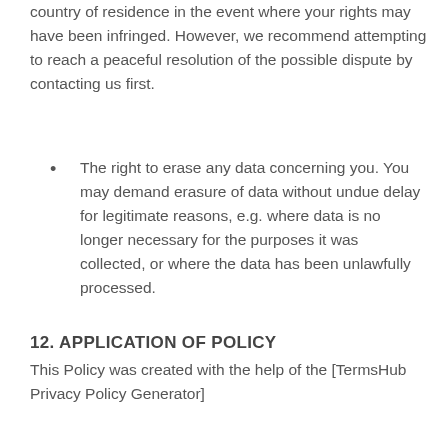country of residence in the event where your rights may have been infringed. However, we recommend attempting to reach a peaceful resolution of the possible dispute by contacting us first.
The right to erase any data concerning you. You may demand erasure of data without undue delay for legitimate reasons, e.g. where data is no longer necessary for the purposes it was collected, or where the data has been unlawfully processed.
12. APPLICATION OF POLICY
This Policy was created with the help of the [TermsHub Privacy Policy Generator]